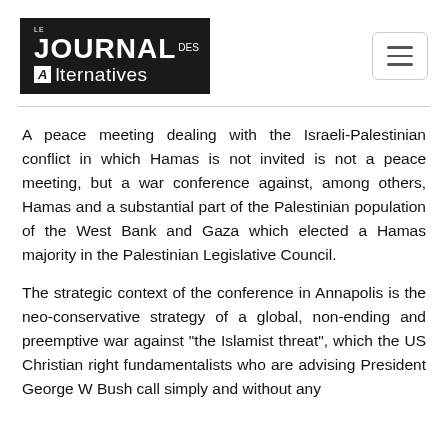[Figure (logo): Le Journal des Alternatives logo — white text on black background]
A peace meeting dealing with the Israeli-Palestinian conflict in which Hamas is not invited is not a peace meeting, but a war conference against, among others, Hamas and a substantial part of the Palestinian population of the West Bank and Gaza which elected a Hamas majority in the Palestinian Legislative Council.
The strategic context of the conference in Annapolis is the neo-conservative strategy of a global, non-ending and preemptive war against "the Islamist threat", which the US Christian right fundamentalists who are advising President George W Bush call simply and without any